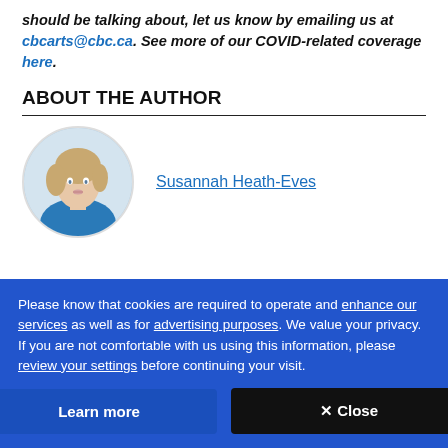should be talking about, let us know by emailing us at cbcarts@cbc.ca. See more of our COVID-related coverage here.
ABOUT THE AUTHOR
[Figure (photo): Circular profile photo of Susannah Heath-Eves, a woman with blonde hair wearing blue]
Susannah Heath-Eves
Please know that cookies are required to operate and enhance our services as well as for advertising purposes. We value your privacy. If you are not comfortable with us using this information, please review your settings before continuing your visit.